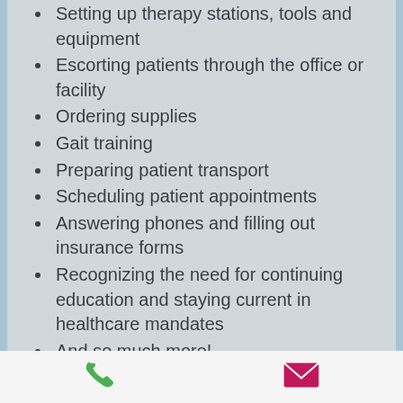Setting up therapy stations, tools and equipment
Escorting patients through the office or facility
Ordering supplies
Gait training
Preparing patient transport
Scheduling patient appointments
Answering phones and filling out insurance forms
Recognizing the need for continuing education and staying current in healthcare mandates
And so much more!
Fifty-five percent of physical therapy aides are employed in therapists' offices. Such therapists include occupational therapists and speech therapists, not just physical therapists. Physical therapy aide technicians play a pivotal role in the functioning of